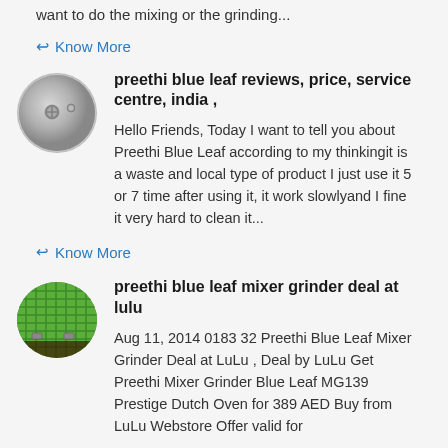want to do the mixing or the grinding...
↩ Know More
[Figure (photo): Close-up oval-shaped photo showing metal screws or bolts on a surface]
preethi blue leaf reviews, price, service centre, india ,
Hello Friends, Today I want to tell you about Preethi Blue Leaf according to my thinkingit is a waste and local type of product I just use it 5 or 7 time after using it, it work slowlyand I fine it very hard to clean it...
↩ Know More
[Figure (photo): Close-up oval-shaped photo showing green mesh/grid surface with metal clips]
preethi blue leaf mixer grinder deal at lulu
Aug 11, 2014 0183 32 Preethi Blue Leaf Mixer Grinder Deal at LuLu , Deal by LuLu Get Preethi Mixer Grinder Blue Leaf MG139 Prestige Dutch Oven for 389 AED Buy from LuLu Webstore Offer valid for